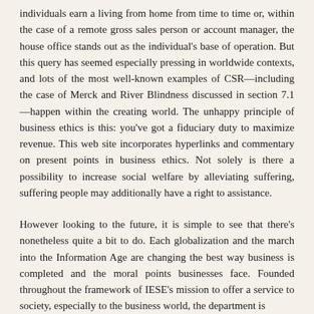individuals earn a living from home from time to time or, within the case of a remote gross sales person or account manager, the house office stands out as the individual's base of operation. But this query has seemed especially pressing in worldwide contexts, and lots of the most well-known examples of CSR—including the case of Merck and River Blindness discussed in section 7.1 —happen within the creating world. The unhappy principle of business ethics is this: you've got a fiduciary duty to maximize revenue. This web site incorporates hyperlinks and commentary on present points in business ethics. Not solely is there a possibility to increase social welfare by alleviating suffering, suffering people may additionally have a right to assistance.
However looking to the future, it is simple to see that there's nonetheless quite a bit to do. Each globalization and the march into the Information Age are changing the best way business is completed and the moral points businesses face. Founded throughout the framework of IESE's mission to offer a service to society, especially to the business world, the department is